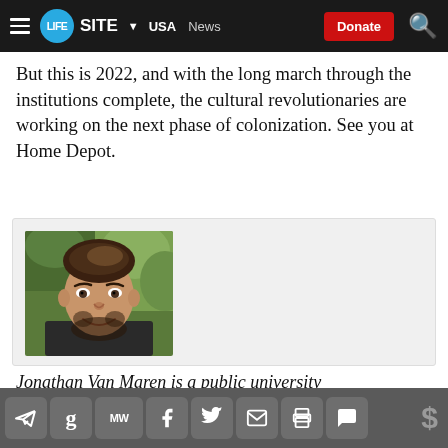LIFESITE ▾ USA News Donate
But this is 2022, and with the long march through the institutions complete, the cultural revolutionaries are working on the next phase of colonization. See you at Home Depot.
[Figure (photo): Headshot photo of a young man with dark hair styled upward, beard, smiling, with blurred green foliage background]
Jonathan Van Maren is a public university
Social share icons: Telegram, Goodreads, MeWe, Facebook, Twitter, Email, Print, Comment, Donate ($)